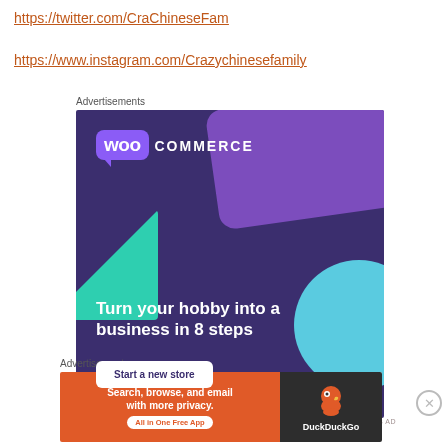https://twitter.com/CraChineseFam
https://www.instagram.com/Crazychinesefamily
Advertisements
[Figure (illustration): WooCommerce advertisement: dark purple background with teal triangle, light blue circle, purple speech-bubble logo card. Text: 'Turn your hobby into a business in 8 steps'. Button: 'Start a new store'.]
REPORT THIS AD
Advertisements
[Figure (illustration): DuckDuckGo advertisement: orange section with text 'Search, browse, and email with more privacy. All in One Free App' and dark section with DuckDuckGo duck logo and name.]